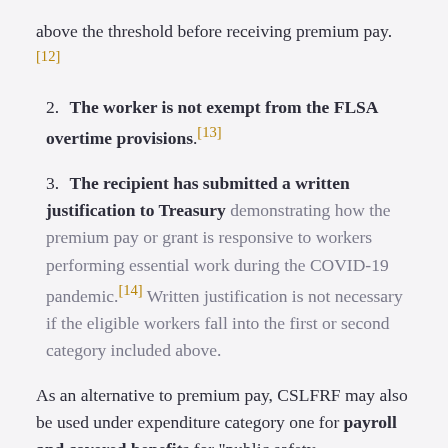above the threshold before receiving premium pay.[12]
2. The worker is not exempt from the FLSA overtime provisions.[13]
3. The recipient has submitted a written justification to Treasury demonstrating how the premium pay or grant is responsive to workers performing essential work during the COVID-19 pandemic.[14] Written justification is not necessary if the eligible workers fall into the first or second category included above.
As an alternative to premium pay, CSLFRF may also be used under expenditure category one for payroll and covered benefits for “public safety, public health, health care, emergency management, or other public health essential workers.”